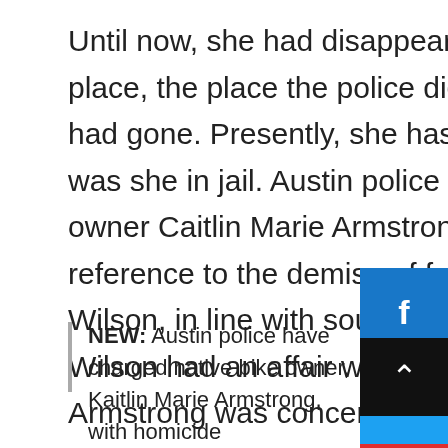Until now, she had disappeared and hid in a secret place, the place the police didn't know the place she had gone. Presently, she has not been arrested nor was she in jail. Austin police have charged native bike owner Caitlin Marie Armstrong with homicide in reference to the demise of fellow bike owner Moriah Wilson, in line with sources. Police disclosed info that Wilson had an affair with a person with whom Armstrong was concerned. Moreover, the investigation is ongoing and her boyfriend Colin can also be cooperating with the investigation. It appears to be like just like the arrest could also be sooner slightly than later.
NEW: Austin police have charged native bike owner, Kaitlin Marie Armstrong, with homicide